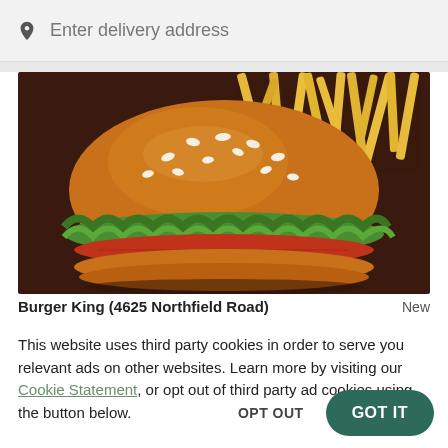Enter delivery address
[Figure (photo): Photo of a burger with sesame seed bun, lettuce, tomato, and french fries in the background against a dark brown background. Burger King restaurant food image.]
Burger King (4625 Northfield Road)   New
This website uses third party cookies in order to serve you relevant ads on other websites. Learn more by visiting our Cookie Statement, or opt out of third party ad cookies using the button below.
OPT OUT
GOT IT